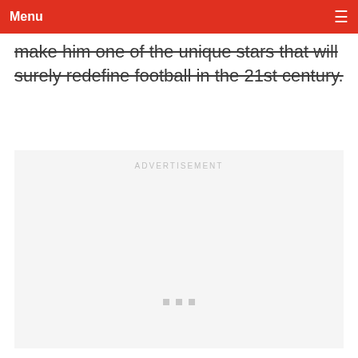Menu
make him one of the unique stars that will surely redefine football in the 21st century.
[Figure (other): Advertisement placeholder with light gray background, text 'ADVERTISEMENT' at top center, and three small gray squares at bottom center]